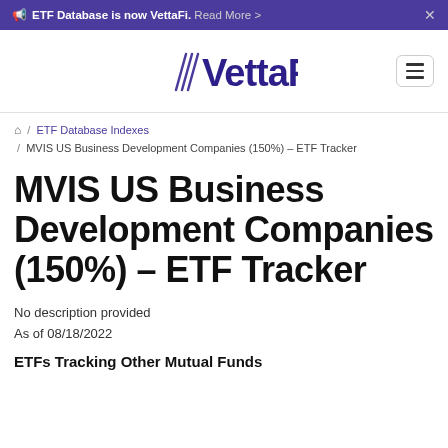ETF Database is now VettaFi. Read More >
[Figure (logo): VettaFi logo in purple with stylized V lines]
Home / ETF Database Indexes / MVIS US Business Development Companies (150%) – ETF Tracker
MVIS US Business Development Companies (150%) – ETF Tracker
No description provided
As of 08/18/2022
ETFs Tracking Other Mutual Funds